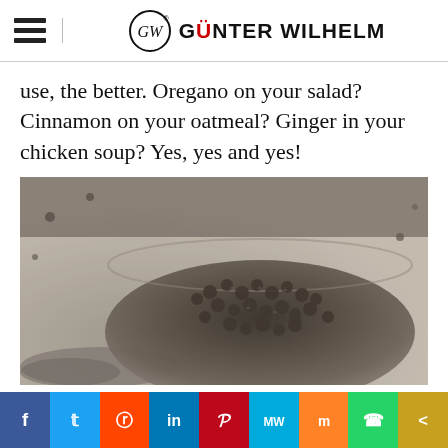Günter Wilhelm
use, the better. Oregano on your salad? Cinnamon on your oatmeal? Ginger in your chicken soup? Yes, yes and yes!
[Figure (photo): Close-up photograph of black peppercorns in a bowl with ground pepper spilled on a surface]
Social sharing bar: Facebook, Twitter, Reddit, LinkedIn, Pinterest, MeWe, Mix, WhatsApp, Share